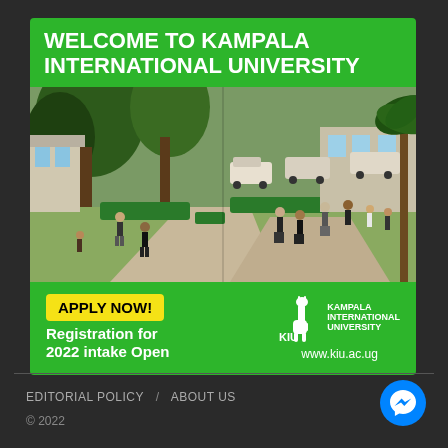[Figure (infographic): Kampala International University advertisement banner. Green header reads WELCOME TO KAMPALA INTERNATIONAL UNIVERSITY in white bold text. Below is a campus photo showing outdoor walkways with trees, parked cars, students and people walking. Bottom green bar shows APPLY NOW! button in yellow, text Registration for 2022 intake Open in white bold, and KIU logo with KAMPALA INTERNATIONAL UNIVERSITY text and www.kiu.ac.ug URL.]
EDITORIAL POLICY / ABOUT US
© 2022